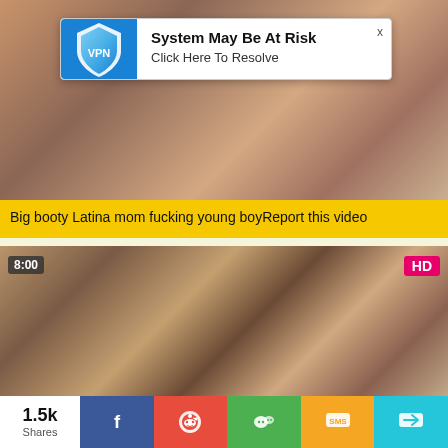[Figure (screenshot): Adult video thumbnail with blurred background, skin tones]
[Figure (infographic): VPN ad overlay: 'System May Be At Risk / Click Here To Resolve' with blue shield VPN logo]
Big booty Latina mom fucking young boyReport this video
[Figure (screenshot): Adult video thumbnail of dining table scene with time badge '8:00' and HD badge]
1.5k Shares